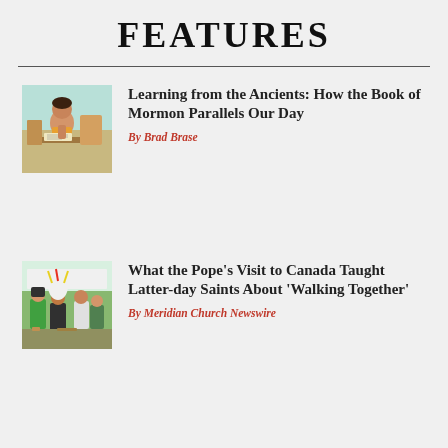FEATURES
[Figure (photo): Illustration of an ancient person, likely a Book of Mormon figure, writing or studying at a desk with artifacts around them]
Learning from the Ancients: How the Book of Mormon Parallels Our Day
By Brad Brase
[Figure (photo): Photograph of a group of people including Indigenous individuals in traditional headdress and others in casual clothing, outdoors at what appears to be a gathering or event]
What the Pope’s Visit to Canada Taught Latter-day Saints About ‘Walking Together’
By Meridian Church Newswire